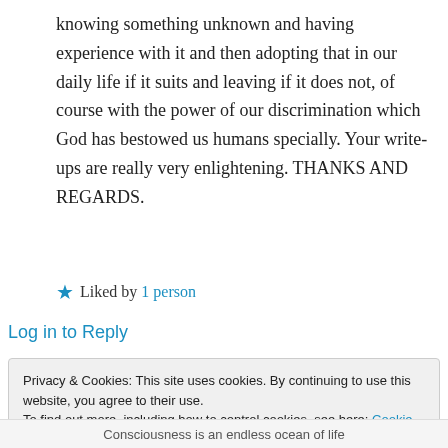knowing something unknown and having experience with it and then adopting that in our daily life if it suits and leaving if it does not, of course with the power of our discrimination which God has bestowed us humans specially. Your write-ups are really very enlightening. THANKS AND REGARDS.
★ Liked by 1 person
Log in to Reply
Privacy & Cookies: This site uses cookies. By continuing to use this website, you agree to their use.
To find out more, including how to control cookies, see here: Cookie Policy
Close and accept
Consciousness is an endless ocean of life